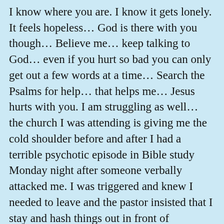I know where you are. I know it gets lonely. It feels hopeless... God is there with you though... Believe me... keep talking to God... even if you hurt so bad you can only get out a few words at a time... Search the Psalms for help... that helps me... Jesus hurts with you. I am struggling as well... the church I was attending is giving me the cold shoulder before and after I had a terrible psychotic episode in Bible study Monday night after someone verbally attacked me. I was triggered and knew I needed to leave and the pastor insisted that I stay and hash things out in front of everybody with this other person... I ended up being suicidal... I do have 2 friends that were on my side. I have been praying and asking my friends on the outside